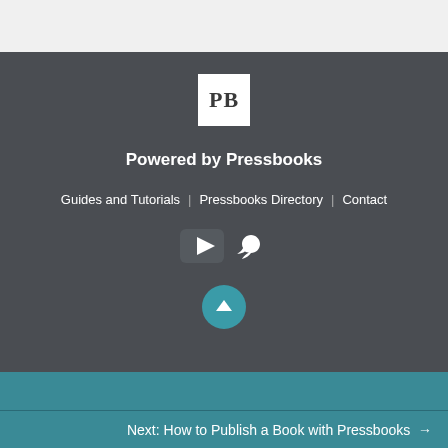[Figure (logo): Pressbooks PB logo - white square with bold PB text]
Powered by Pressbooks
Guides and Tutorials | Pressbooks Directory | Contact
[Figure (illustration): YouTube and Twitter social media icons in white]
[Figure (illustration): Scroll to top button - teal circle with upward arrow]
Next: How to Publish a Book with Pressbooks →